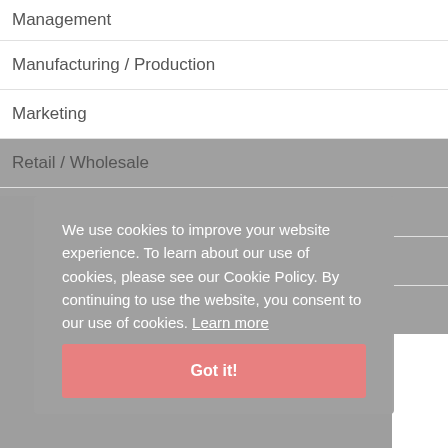Management
Manufacturing / Production
Marketing
Retail / Wholesale
Sales / Business Development
Telecommunications
Transportation / Warehouse
We use cookies to improve your website experience. To learn about our use of cookies, please see our Cookie Policy. By continuing to use the website, you consent to our use of cookies. Learn more
Got it!